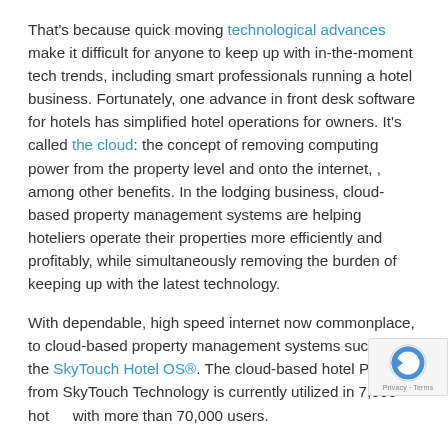That's because quick moving technological advances make it difficult for anyone to keep up with in-the-moment tech trends, including smart professionals running a hotel business. Fortunately, one advance in front desk software for hotels has simplified hotel operations for owners. It's called the cloud: the concept of removing computing power from the property level and onto the internet, , among other benefits. In the lodging business, cloud-based property management systems are helping hoteliers operate their properties more efficiently and profitably, while simultaneously removing the burden of keeping up with the latest technology.
With dependable, high speed internet now commonplace, to cloud-based property management systems such as the SkyTouch Hotel OS®. The cloud-based hotel PMS from SkyTouch Technology is currently utilized in 7,000 hotels with more than 70,000 users.
Training Simplified: